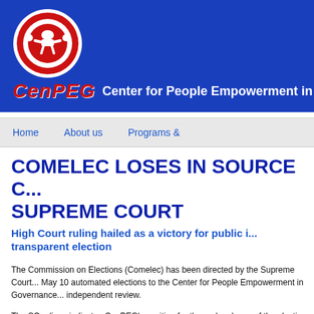[Figure (logo): CenPEG logo — red circle with white figure design on blue banner background, with text 'CenPEG Center for People Empowerment in G...']
Home   About us   Programs &
COMELEC LOSES IN SOURCE C... SUPREME COURT
High Court ruling hailed as a victory for public i... transparent election
The Commission on Elections (Comelec) has been directed by the Supreme Court... May 10 automated elections to the Center for People Empowerment in Governance... independent review.
The SC ruling vindicates CenPEG's position for the early release of the election sou... May 2009, or one year before the automated elections. The review of the source...